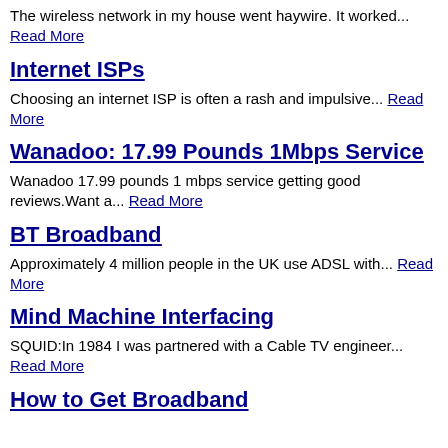The wireless network in my house went haywire. It worked... Read More
Internet ISPs
Choosing an internet ISP is often a rash and impulsive... Read More
Wanadoo: 17.99 Pounds 1Mbps Service
Wanadoo 17.99 pounds 1 mbps service getting good reviews.Want a... Read More
BT Broadband
Approximately 4 million people in the UK use ADSL with... Read More
Mind Machine Interfacing
SQUID:In 1984 I was partnered with a Cable TV engineer... Read More
How to Get Broadband